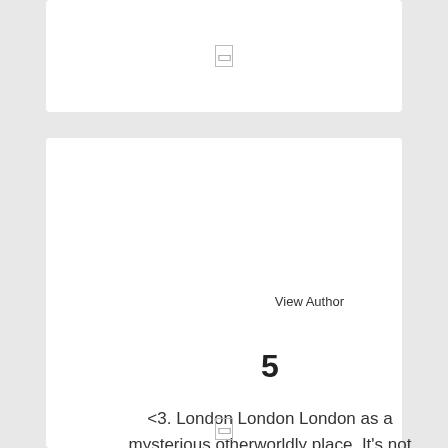[Figure (other): White card panel at top with a small icon/placeholder in center]
View Author
5
<3. London London London as a mysterious otherworldly place. It's not romantic and that's what I love, it's just big and urban and different.
[Figure (other): Small icon/placeholder at bottom of lower card]